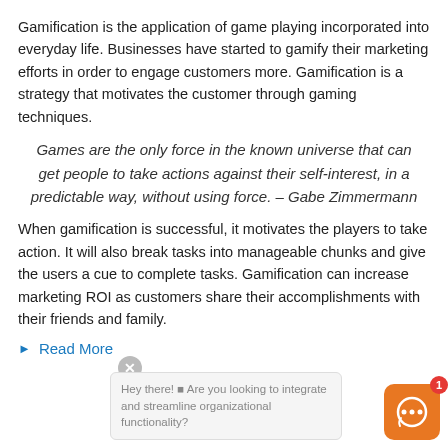Gamification is the application of game playing incorporated into everyday life. Businesses have started to gamify their marketing efforts in order to engage customers more. Gamification is a strategy that motivates the customer through gaming techniques.
Games are the only force in the known universe that can get people to take actions against their self-interest, in a predictable way, without using force. – Gabe Zimmermann
When gamification is successful, it motivates the players to take action. It will also break tasks into manageable chunks and give the users a cue to complete tasks. Gamification can increase marketing ROI as customers share their accomplishments with their friends and family.
Read More
[Figure (screenshot): Chat popup widget showing close button, message 'Hey there! Are you looking to integrate and streamline organizational functionality?' and an orange chat icon with badge showing 1.]